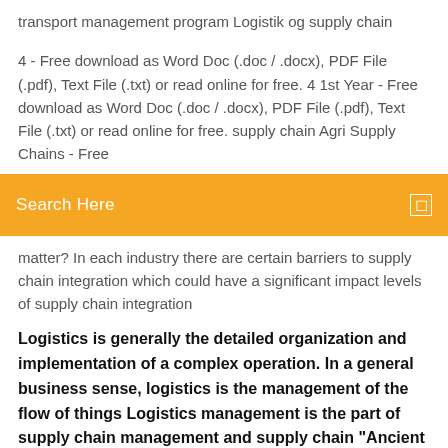transport management program Logistik og supply chain
4 - Free download as Word Doc (.doc / .docx), PDF File (.pdf), Text File (.txt) or read online for free. 4 1st Year - Free download as Word Doc (.doc / .docx), PDF File (.pdf), Text File (.txt) or read online for free. supply chain Agri Supply Chains - Free
Search Here
matter? In each industry there are certain barriers to supply chain integration which could have a significant impact levels of supply chain integration
Logistics is generally the detailed organization and implementation of a complex operation. In a general business sense, logistics is the management of the flow of things Logistics management is the part of supply chain management and supply chain "Ancient logistics – historical timeline and etymology" (PDF).